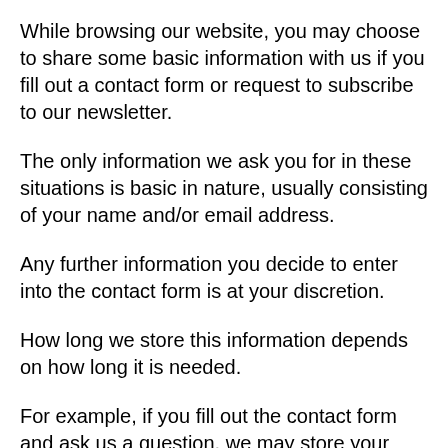While browsing our website, you may choose to share some basic information with us if you fill out a contact form or request to subscribe to our newsletter.
The only information we ask you for in these situations is basic in nature, usually consisting of your name and/or email address.
Any further information you decide to enter into the contact form is at your discretion.
How long we store this information depends on how long it is needed.
For example, if you fill out the contact form and ask us a question, we may store your message until we have had a chance to reply.